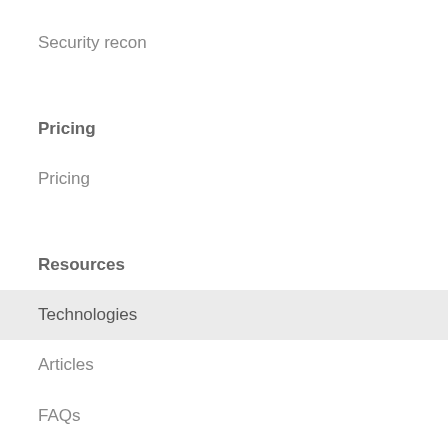Security recon
Pricing
Pricing
Resources
Technologies
Articles
FAQs
Documentation